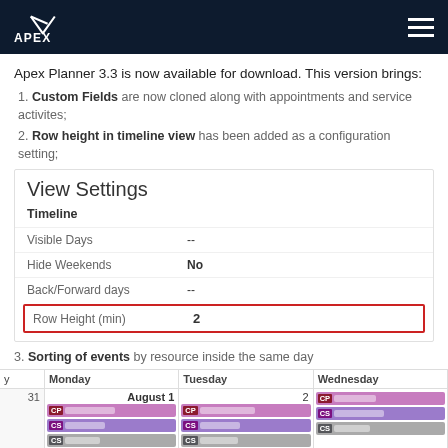APEX [logo] [hamburger menu]
Apex Planner 3.3 is now available for download. This version brings:
Custom Fields are now cloned along with appointments and service activites;
Row height in timeline view has been added as a configuration setting;
[Figure (screenshot): View Settings panel screenshot showing Timeline section with rows: Visible Days --, Hide Weekends No, Back/Forward days --, Row Height (min) 2 (highlighted in red border)]
Sorting of events by resource inside the same day
[Figure (screenshot): Calendar week view screenshot showing Monday August 1, Tuesday 2, Wednesday columns with CP, CS, CC event rows containing blurred event names]